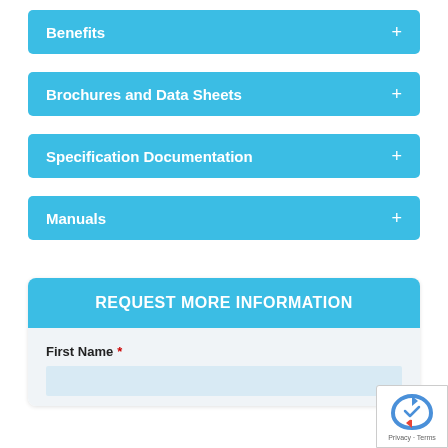Benefits +
Brochures and Data Sheets +
Specification Documentation +
Manuals +
REQUEST MORE INFORMATION
First Name *